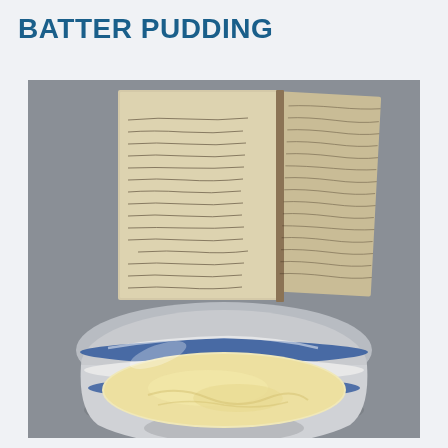BATTER PUDDING
[Figure (photo): A blue and white ceramic bowl filled with pale yellow batter pudding, placed in front of an open antique handwritten recipe notebook, all on a grey background.]